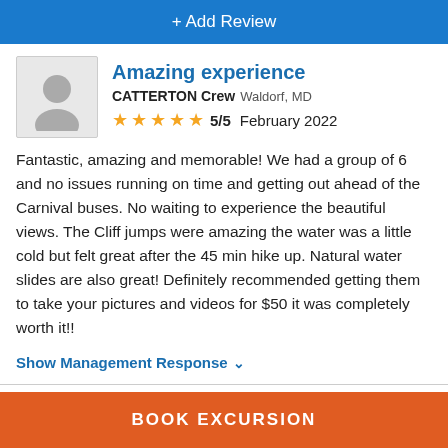+ Add Review
Amazing experience
CATTERTON Crew Waldorf, MD
★★★★★ 5/5  February 2022
Fantastic, amazing and memorable! We had a group of 6 and no issues running on time and getting out ahead of the Carnival buses. No waiting to experience the beautiful views. The Cliff jumps were amazing the water was a little cold but felt great after the 45 min hike up. Natural water slides are also great! Definitely recommended getting them to take your pictures and videos for $50 it was completely worth it!!
Show Management Response ∨
BOOK EXCURSION